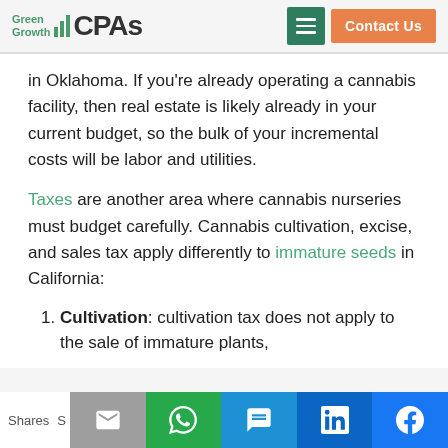Green Growth CPAs | Contact Us
in Oklahoma. If you're already operating a cannabis facility, then real estate is likely already in your current budget, so the bulk of your incremental costs will be labor and utilities.
Taxes are another area where cannabis nurseries must budget carefully. Cannabis cultivation, excise, and sales tax apply differently to immature seeds in California:
Cultivation: cultivation tax does not apply to the sale of immature plants,
Shares | Social share icons: Email, WhatsApp, SMS, LinkedIn, Facebook